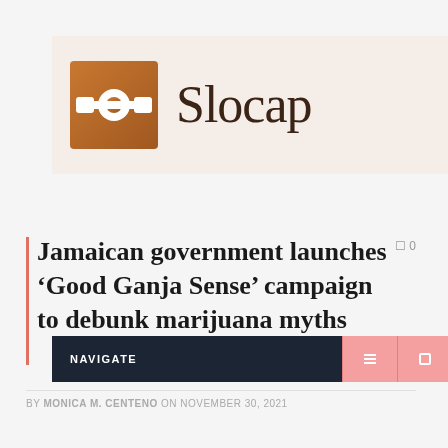[Figure (logo): Slocap logo: a brown/copper square icon with a white connector symbol, and 'Slocap' text in dark brown serif font, on a light beige background]
NAVIGATE
Jamaican government launches ‘Good Ganja Sense’ campaign to debunk marijuana myths
BY MONICA M. CENTENO ON NOVEMBER 30, 2021